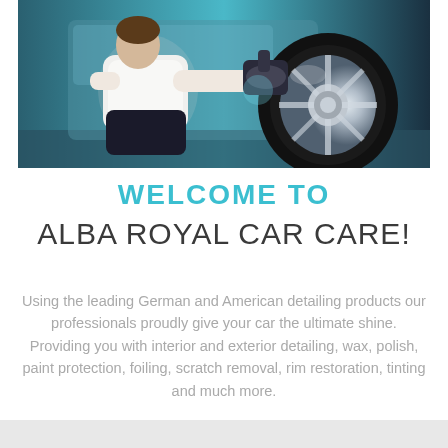[Figure (photo): A person in a white shirt crouching down and using a polishing tool on the wheel/rim area of a vehicle. The wheel is chrome/silver and the image has a teal/blue tint.]
WELCOME TO
ALBA ROYAL CAR CARE!
Using the leading German and American detailing products our professionals proudly give your car the ultimate shine. Providing you with interior and exterior detailing, wax, polish, paint protection, foiling, scratch removal, rim restoration, tinting and much more.